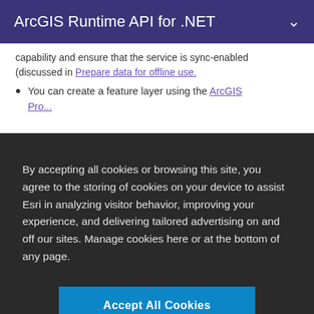ArcGIS Runtime API for .NET
capability and ensure that the service is sync-enabled (discussed in Prepare data for offline use.
You can create a feature layer using the ArcGIS Pro...
By accepting all cookies or browsing this site, you agree to the storing of cookies on your device to assist Esri in analyzing visitor behavior, improving your experience, and delivering tailored advertising on and off our sites. Manage cookies here or at the bottom of any page.
Accept All Cookies
Cookies Settings
feature service. Use these URLs to reference the services